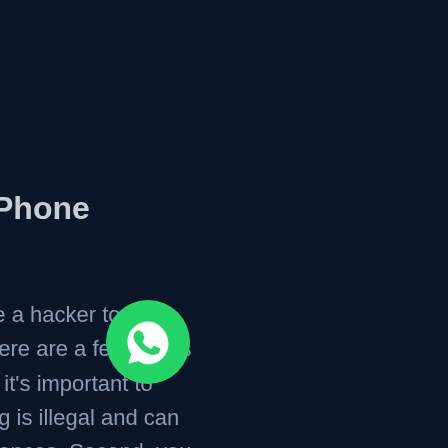Phone
re a hacker to hack
nere are a few things
t, it’s important to
ng is illegal and can
uences. Second, you
hacker that you can
o be prepared to pay
ervice
[Figure (logo): WhatsApp logo button - green circle with white WhatsApp chat bubble icon]